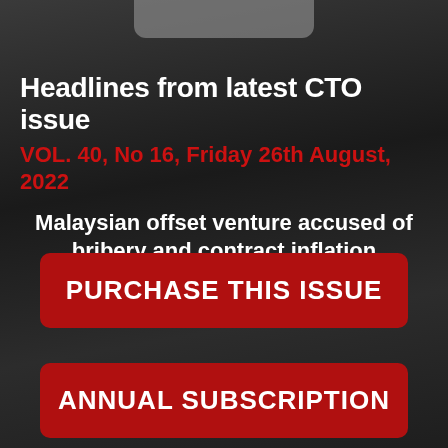Headlines from latest CTO issue
VOL. 40, No 16, Friday 26th August, 2022
Malaysian offset venture accused of bribery and contract inflation
PURCHASE THIS ISSUE
ANNUAL SUBSCRIPTION